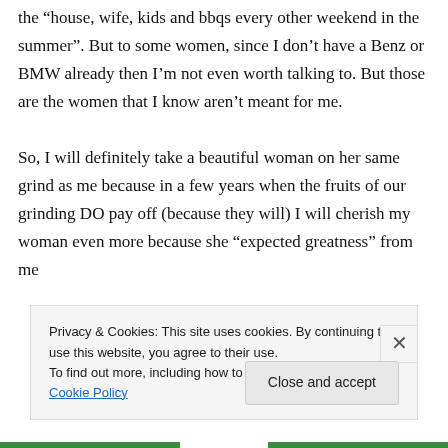the “house, wife, kids and bbqs every other weekend in the summer”. But to some women, since I don’t have a Benz or BMW already then I’m not even worth talking to. But those are the women that I know aren’t meant for me.

So, I will definitely take a beautiful woman on her same grind as me because in a few years when the fruits of our grinding DO pay off (because they will) I will cherish my woman even more because she “expected greatness” from me
Privacy & Cookies: This site uses cookies. By continuing to use this website, you agree to their use.
To find out more, including how to control cookies, see here: Cookie Policy